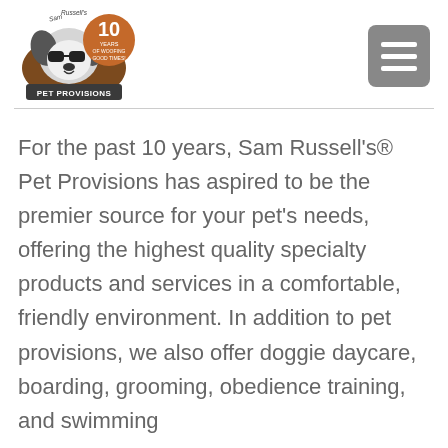[Figure (logo): Sam Russell's Pet Provisions logo with a dog wearing sunglasses and a badge reading '10 Years of Woofing Good Times!']
For the past 10 years, Sam Russell's® Pet Provisions has aspired to be the premier source for your pet's needs, offering the highest quality specialty products and services in a comfortable, friendly environment. In addition to pet provisions, we also offer doggie daycare, boarding, grooming, obedience training, and swimming